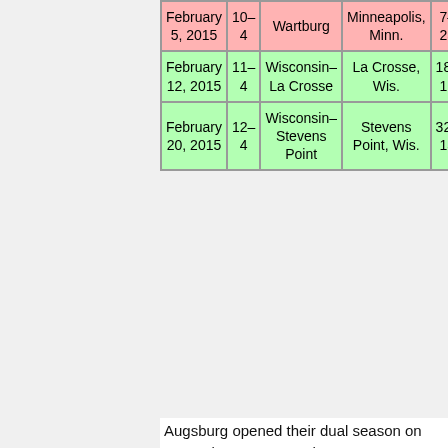| Date | Record | Opponent | Location | Score |
| --- | --- | --- | --- | --- |
| February 5, 2015 | 10–4 | Wartburg | Minneapolis, Minn. | 7–25 |
| February 12, 2015 | 11–4 | Wisconsin–La Crosse | La Crosse, Wis. | 18–16 |
| February 20, 2015 | 12–4 | Wisconsin–Stevens Point | Stevens Point, Wis. | 32–13 |
Augsburg opened their dual season on December 6, 2014 at the 2014 Candlewood Suites Duals hosted by the University of Wisconsin La–Crosse. No. 7 Augsburg went 2–1 on the day against teams from Iowa. The Auggies opened with a 37–7 win over Dubuque, dropped a tight 25–24 contest to No. 15 Loras before closing with a 35–3 win over No. 22 Cornell. Tommy Teigen (184 lbs.) went 3–0 on the day claiming all victories by fall.